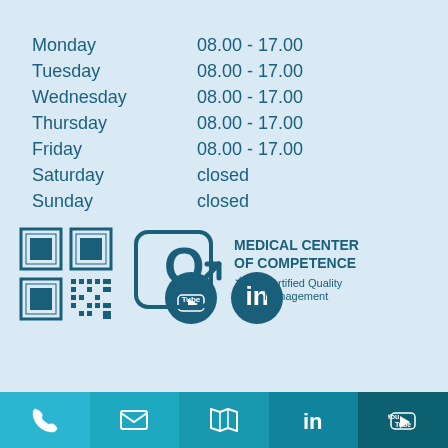| Monday | 08.00 - 17.00 |
| Tuesday | 08.00 - 17.00 |
| Wednesday | 08.00 - 17.00 |
| Thursday | 08.00 - 17.00 |
| Friday | 08.00 - 17.00 |
| Saturday | closed |
| Sunday | closed |
[Figure (illustration): YouTube and LinkedIn social media icon circles]
[Figure (illustration): QR code and Medical Center of Competence certified quality management logo]
[Figure (illustration): Footer bar with phone, email, map, LinkedIn, and YouTube icons]